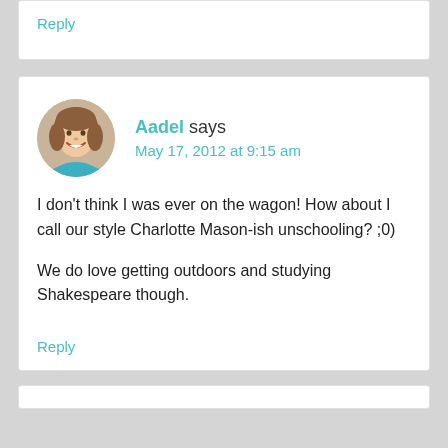Reply
Aadel says
May 17, 2012 at 9:15 am
I don't think I was ever on the wagon! How about I call our style Charlotte Mason-ish unschooling? ;0)
We do love getting outdoors and studying Shakespeare though.
Reply